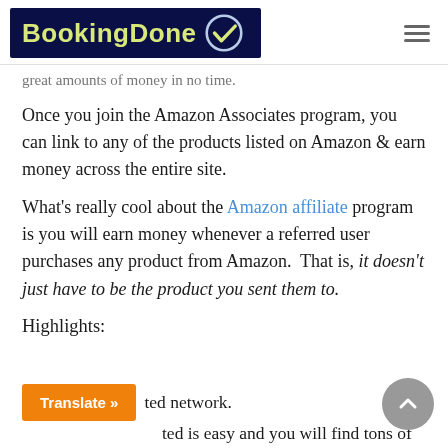BookingDone
great amounts of money in no time.
Once you join the Amazon Associates program, you can link to any of the products listed on Amazon & earn money across the entire site.
What's really cool about the Amazon affiliate program is you will earn money whenever a referred user purchases any product from Amazon. That is, it doesn't just have to be the product you sent them to.
Highlights:
ted network.
ted is easy and you will find tons of